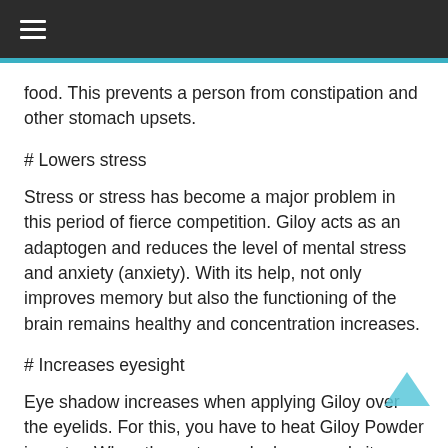☰
food. This prevents a person from constipation and other stomach upsets.
# Lowers stress
Stress or stress has become a major problem in this period of fierce competition. Giloy acts as an adaptogen and reduces the level of mental stress and anxiety (anxiety). With its help, not only improves memory but also the functioning of the brain remains healthy and concentration increases.
# Increases eyesight
Eye shadow increases when applying Giloy over the eyelids. For this, you have to heat Giloy Powder in water. When the water cools down, apply it on the eyelids.